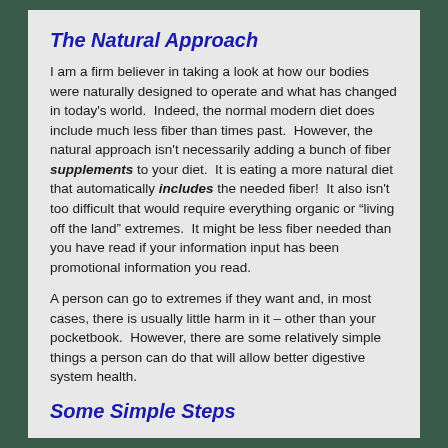The Natural Approach
I am a firm believer in taking a look at how our bodies were naturally designed to operate and what has changed in today's world.  Indeed, the normal modern diet does include much less fiber than times past.  However, the natural approach isn't necessarily adding a bunch of fiber supplements to your diet.  It is eating a more natural diet that automatically includes the needed fiber!  It also isn't too difficult that would require everything organic or “living off the land” extremes.  It might be less fiber needed than you have read if your information input has been promotional information you read.
A person can go to extremes if they want and, in most cases, there is usually little harm in it – other than your pocketbook.  However, there are some relatively simple things a person can do that will allow better digestive system health.
Some Simple Steps
1. A person can make a good effort to radically reduce the unbleached white flour products and sugar they eat (since